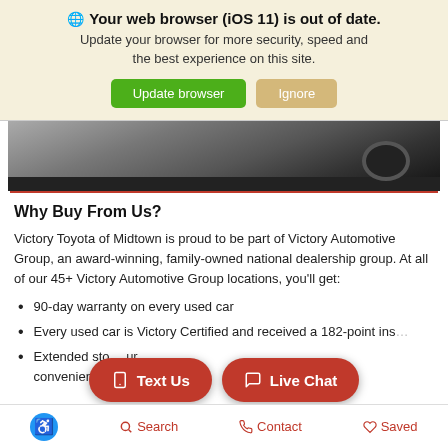🌐 Your web browser (iOS 11) is out of date. Update your browser for more security, speed and the best experience on this site.
[Figure (photo): Partial view of a car in a parking lot, showing the side and wheel of a silver vehicle on a dark asphalt surface.]
Why Buy From Us?
Victory Toyota of Midtown is proud to be part of Victory Automotive Group, an award-winning, family-owned national dealership group. At all of our 45+ Victory Automotive Group locations, you'll get:
90-day warranty on every used car
Every used car is Victory Certified and received a 182-point ins…
Extended sto… … convenience
Accessibility  Search  Contact  Saved